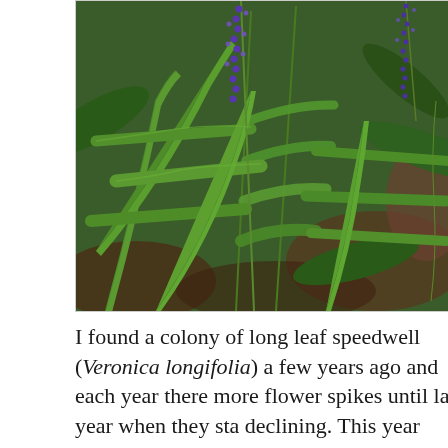[Figure (photo): Close-up photograph of long leaf speedwell (Veronica longifolia) plants showing green serrated leaves and blue-purple flower spikes against a forest floor background.]
I found a colony of long leaf speedwell (Veronica longifolia) a few years ago and each year there more flower spikes until last year when they sta declining. This year there were even fewer plan